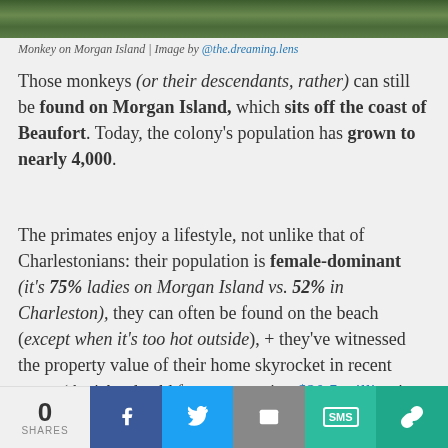[Figure (photo): Top strip showing foliage/monkey habitat on Morgan Island]
Monkey on Morgan Island | Image by @the.dreaming.lens
Those monkeys (or their descendants, rather) can still be found on Morgan Island, which sits off the coast of Beaufort. Today, the colony's population has grown to nearly 4,000.
The primates enjoy a lifestyle, not unlike that of Charlestonians: their population is female-dominant (it's 75% ladies on Morgan Island vs. 52% in Charleston), they can often be found on the beach (except when it's too hot outside), + they've witnessed the property value of their home skyrocket in recent years (the island sold for a staggering $20.5 million in 2002 – though we're told the monkeys were not on the hook to pay for it).
0 SHARES | Facebook | Twitter | Email | SMS | Link